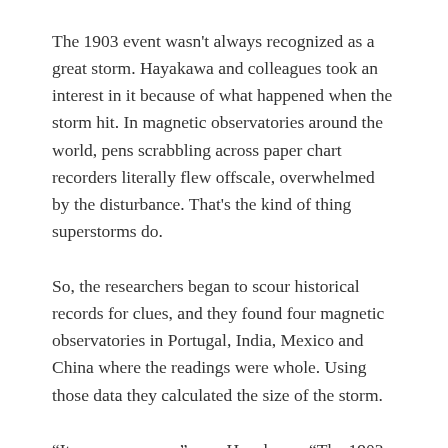The 1903 event wasn't always recognized as a great storm. Hayakawa and colleagues took an interest in it because of what happened when the storm hit. In magnetic observatories around the world, pens scrabbling across paper chart recorders literally flew offscale, overwhelmed by the disturbance. That's the kind of thing superstorms do.
So, the researchers began to scour historical records for clues, and they found four magnetic observatories in Portugal, India, Mexico and China where the readings were whole. Using those data they calculated the size of the storm.
“It was enormous,” says Hayakawa. “The 1903 storm ranks 6th in the list of known geomagnetic storms since